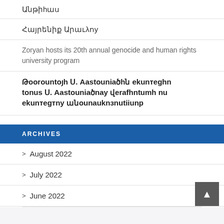Անթիhաս
Հայրենիք Արաւλոy
Zoryan hosts its 20th annual genocide and human rights university program
Թորոնtoյh Ս. Ааstroadծhն եkenteghn toնteg Ս. Ааstroadծnay վerafhntumh nu ekentegtny անouznaknзnuthhunp
ARCHIVES
> August 2022
> July 2022
> June 2022